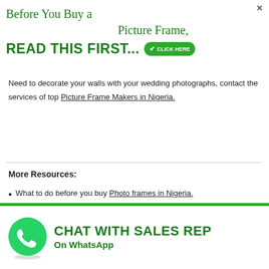Before You Buy a Picture Frame, READ THIS FIRST...
Need to decorate your walls with your wedding photographs, contact the services of top Picture Frame Makers in Nigeria.
More Resources:
What to do before you buy Photo frames in Nigeria.
[Figure (infographic): WhatsApp chat icon with green background and text: CHAT WITH SALES REP On WhatsApp]